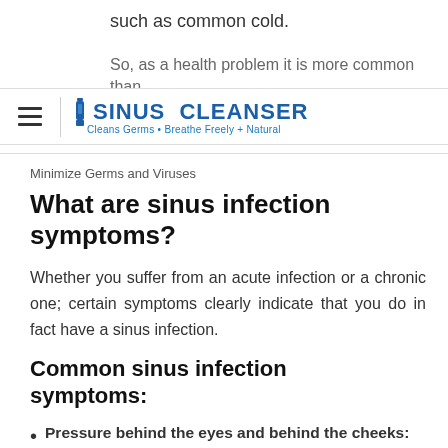such as common cold.
So, as a health problem it is more common than
SINUS CLEANSER — Cleans Germs · Breathe Freely + Natural
Minimize Germs and Viruses
What are sinus infection symptoms?
Whether you suffer from an acute infection or a chronic one; certain symptoms clearly indicate that you do in fact have a sinus infection.
Common sinus infection symptoms:
Pressure behind the eyes and behind the cheeks: you have to eliminate first eye problems and eye fatigue before defining